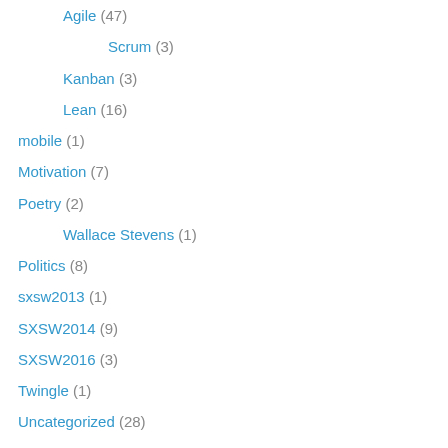Agile (47)
Scrum (3)
Kanban (3)
Lean (16)
mobile (1)
Motivation (7)
Poetry (2)
Wallace Stevens (1)
Politics (8)
sxsw2013 (1)
SXSW2014 (9)
SXSW2016 (3)
Twingle (1)
Uncategorized (28)
By Date
October 2019 (1)
April 2017 (4)
March 2017 (4)